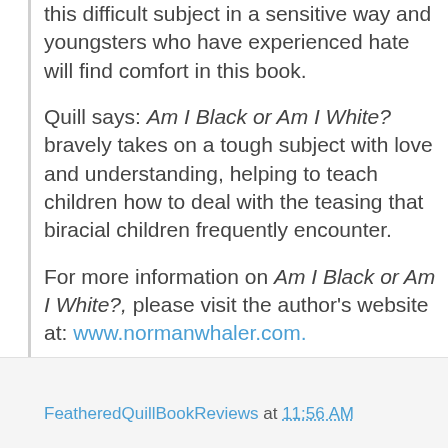this difficult subject in a sensitive way and youngsters who have experienced hate will find comfort in this book.

Quill says: Am I Black or Am I White? bravely takes on a tough subject with love and understanding, helping to teach children how to deal with the teasing that biracial children frequently encounter.

For more information on Am I Black or Am I White?, please visit the author's website at: www.normanwhaler.com.
FeatheredQuillBookReviews at 11:56 AM